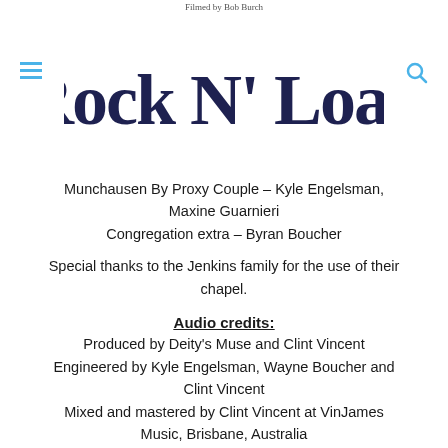Rock N' Load
Munchausen By Proxy Couple – Kyle Engelsman, Maxine Guarnieri
Congregation extra – Byran Boucher
Special thanks to the Jenkins family for the use of their chapel.
Audio credits:
Produced by Deity's Muse and Clint Vincent
Engineered by Kyle Engelsman, Wayne Boucher and Clint Vincent
Mixed and mastered by Clint Vincent at VinJames Music, Brisbane, Australia
Deity's Muse is: